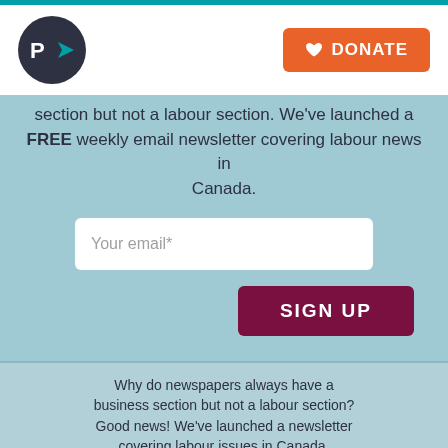[Figure (logo): Circular dark navy logo with white letter P and teal arrow pointing right]
[Figure (other): Orange DONATE button with heart icon]
FREE weekly email newsletter covering labour news in Canada.
[Figure (other): Email input field with placeholder 'Your email*']
[Figure (other): Dark maroon SIGN UP button]
Why do newspapers always have a business section but not a labour section? Good news! We've launched a newsletter covering labour issues in Canada.
[Figure (other): Email Address input field and SIGN UP button in bottom popup]